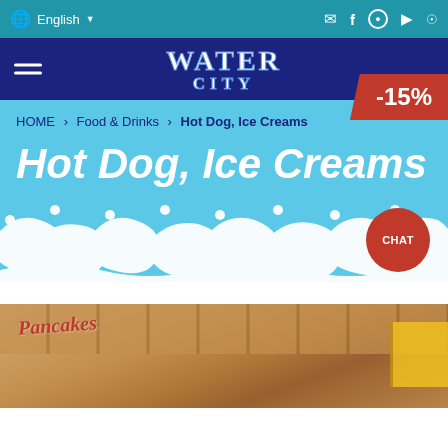English
[Figure (logo): Water City logo with hamburger menu on dark navy background]
-15%
HOME › Food & Drinks › Hot Dog, Ice Creams
Hot Dog, Ice Creams
[Figure (illustration): Wave pattern decoration in white on light blue background with CHAT button]
[Figure (photo): Photo of food stand with Pancakes sign and wooden ceiling]